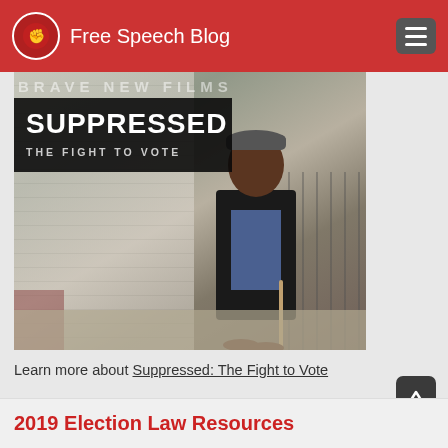Free Speech Blog
[Figure (photo): Movie poster and photo for 'Suppressed: The Fight to Vote' by Brave New Films. Shows an elderly Black man with a cane standing in front of a house with a chain-link fence. A dark overlay on the left reads 'SUPPRESSED / THE FIGHT TO VOTE'.]
Learn more about Suppressed: The Fight to Vote
2019 Election Law Resources